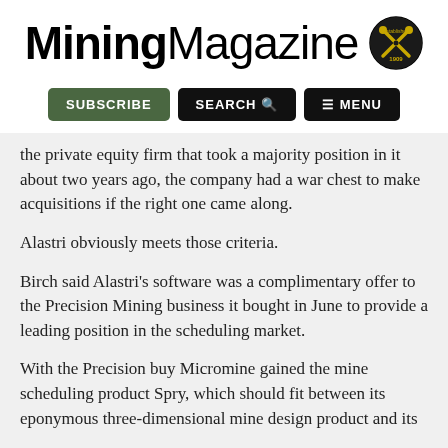[Figure (logo): Mining Magazine logo with crossed pickaxe badge and 'Established 1909' text]
SUBSCRIBE  SEARCH  ☰ MENU
the private equity firm that took a majority position in it about two years ago, the company had a war chest to make acquisitions if the right one came along.
Alastri obviously meets those criteria.
Birch said Alastri's software was a complimentary offer to the Precision Mining business it bought in June to provide a leading position in the scheduling market.
With the Precision buy Micromine gained the mine scheduling product Spry, which should fit between its eponymous three-dimensional mine design product and its